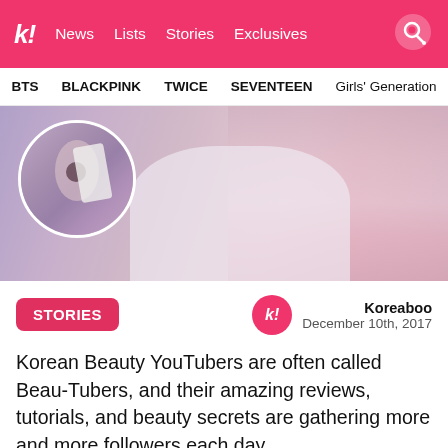k! News Lists Stories Exclusives
BTS BLACKPINK TWICE SEVENTEEN Girls' Generation
[Figure (photo): Hero image of a person with purple/pink ombre hair using a facial tool near their nose, with a circular inset showing a close-up of their face]
STORIES
Koreaboo
December 10th, 2017
Korean Beauty YouTubers are often called Beau-Tubers, and their amazing reviews, tutorials, and beauty secrets are gathering more and more followers each day.